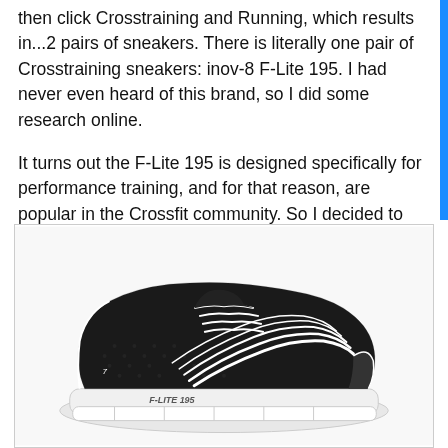then click Crosstraining and Running, which results in...2 pairs of sneakers. There is literally one pair of Crosstraining sneakers: inov-8 F-Lite 195. I had never even heard of this brand, so I did some research online.
It turns out the F-Lite 195 is designed specifically for performance training, and for that reason, are popular in the Crossfit community. So I decided to give them a try.
[Figure (photo): Product photo of inov-8 F-Lite 195 crosstraining sneaker, black with white accents and white sole, shown at an angle. The shoe has mesh upper, white laces with black and white patterned overlays, and 'F-LITE 195' printed on the side.]